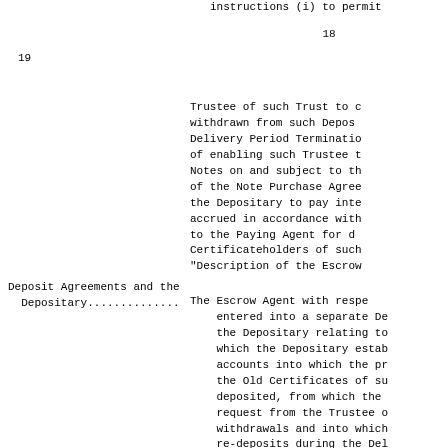instructions (i) to permit
18
19
Trustee of such Trust to c withdrawn from such Depos Delivery Period Terminatio of enabling such Trustee t Notes on and subject to th of the Note Purchase Agree the Depositary to pay inte accrued in accordance with to the Paying Agent for d Certificateholders of such "Description of the Escrow
Deposit Agreements and the
   Depositary..............
The Escrow Agent with respe entered into a separate De the Depositary relating to which the Depositary estab accounts into which the pr the Old Certificates of su deposited, from which the request from the Trustee o withdrawals and into which re-deposits during the Del to the Deposit Agreement w Trust, on each Regular Dis Depositary will pay to the